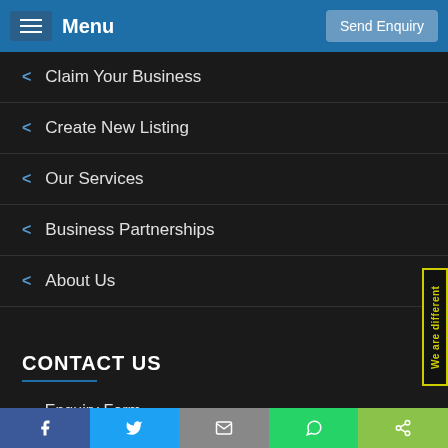Menu | Send Enquiry
Claim Your Business
Create New Listing
Our Services
Business Partnerships
About Us
CONTACT US
Enquiry Form
biz@usaonline.us
[Figure (screenshot): Social media icons: Facebook, Twitter, another icon]
Facebook | Twitter | Email | WhatsApp | Share
We are different